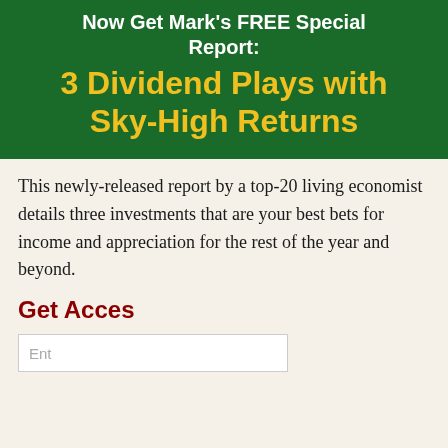Now Get Mark's FREE Special Report: 3 Dividend Plays with Sky-High Returns
This newly-released report by a top-20 living economist details three investments that are your best bets for income and appreciation for the rest of the year and beyond.
Get Access
[Figure (screenshot): Video ad popup overlay showing 'Up Next - Kraken Exec on Planning for t...' with an Ethereum's Merge advertisement. Left side shows a gold Ethereum coin. Right side lists: 'Transition from proof-of-work to proof-of-stake', 'Will eliminate the need for energy intensive mining', 'Will secure the network using staked ether'. Bloomberg Crypto Report branding at bottom.]
Ent